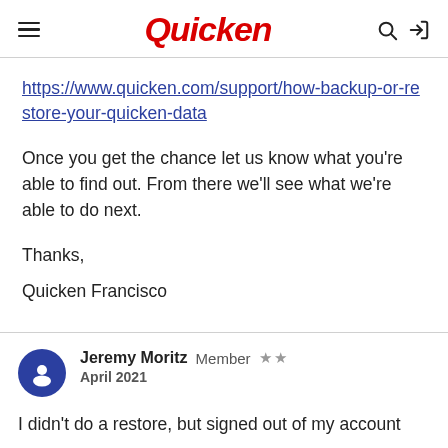Quicken
https://www.quicken.com/support/how-backup-or-restore-your-quicken-data
Once you get the chance let us know what you're able to find out. From there we'll see what we're able to do next.
Thanks,
Quicken Francisco
Jeremy Moritz  Member  ★★
April 2021
I didn't do a restore, but signed out of my account